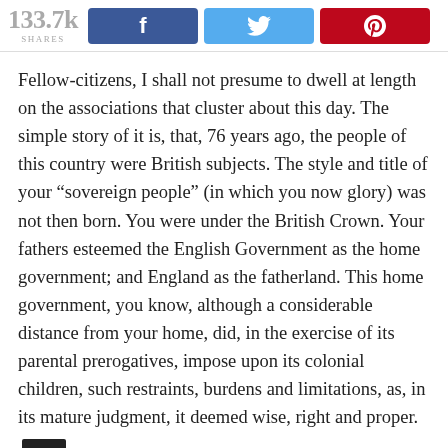133.7k SHARES
Fellow-citizens, I shall not presume to dwell at length on the associations that cluster about this day. The simple story of it is, that, 76 years ago, the people of this country were British subjects. The style and title of your “sovereign people” (in which you now glory) was not then born. You were under the British Crown. Your fathers esteemed the English Government as the home government; and England as the fatherland. This home government, you know, although a considerable distance from your home, did, in the exercise of its parental prerogatives, impose upon its colonial children, such restraints, burdens and limitations, as, in its mature judgment, it deemed wise, right and proper.
But your fathers, who had not adopted the fashionable idea